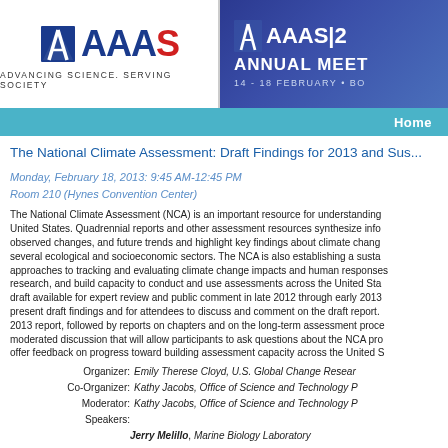[Figure (logo): AAAS logo with text 'ADVANCING SCIENCE. SERVING SOCIETY' on left, and AAAS Annual Meeting banner on right with date 14-18 February Boston]
Home
The National Climate Assessment: Draft Findings for 2013 and Sus...
Monday, February 18, 2013: 9:45 AM-12:45 PM
Room 210 (Hynes Convention Center)
The National Climate Assessment (NCA) is an important resource for understanding... United States. Quadrennial reports and other assessment resources synthesize info... observed changes, and future trends and highlight key findings about climate chan... several ecological and socioeconomic sectors. The NCA is also establishing a susta... approaches to tracking and evaluating climate change impacts and human responses... research, and build capacity to conduct and use assessments across the United St... draft available for expert review and public comment in late 2012 through early 2013... present draft findings and for attendees to discuss and comment on the draft report. 2013 report, followed by reports on chapters and on the long-term assessment proc... moderated discussion that will allow participants to ask questions about the NCA pr... offer feedback on progress toward building assessment capacity across the United S...
Organizer: Emily Therese Cloyd, U.S. Global Change Resear...
Co-Organizer: Kathy Jacobs, Office of Science and Technology P...
Moderator: Kathy Jacobs, Office of Science and Technology P...
Speakers:
Jerry Melillo, Marine Biology Laboratory